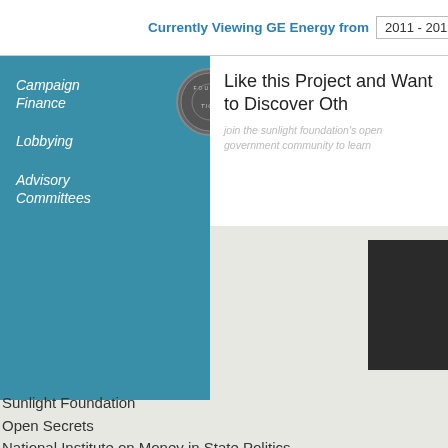Currently Viewing GE Energy from   2011 - 2012
Like this Project and Want to Discover Oth
join the sunlight foundation's open government community to learn
Campaign Finance
Lobbying
Advisory Committees
Sunlight Foundation
Open Secrets
National Institute on Money in State Politics
Project on Government Oversight
Founded in 2006, the Sunlight Foundation is a n and ideas to make government transparent and a